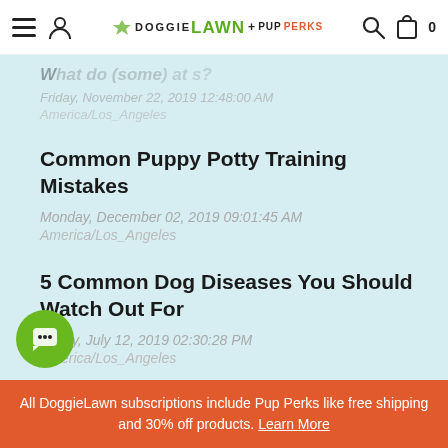DoggieLawn + Pup Perks
Friday, November 22, 2019 12:48:00 AM
America/Los_Angeles
Common Puppy Potty Training Mistakes
Monday, December 02, 2019 09:01:45 AM
America/Los_Angeles
5 Common Dog Diseases You Should Watch Out For
Friday, July 12, 2019 02:30:28 PM
America/Los_Angeles
NEWSLETTER
All DoggieLawn subscriptions include Pup Perks like free shipping and 30% off products. Learn More